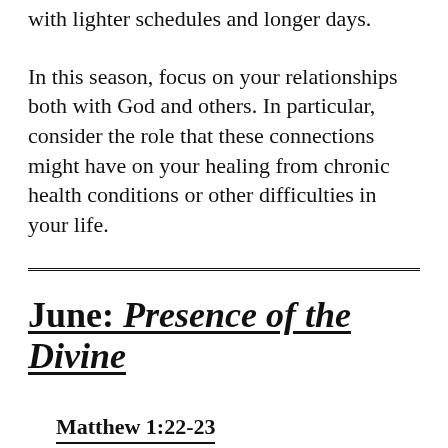with lighter schedules and longer days.
In this season, focus on your relationships both with God and others. In particular, consider the role that these connections might have on your healing from chronic health conditions or other difficulties in your life.
June: Presence of the Divine
Matthew 1:22-23